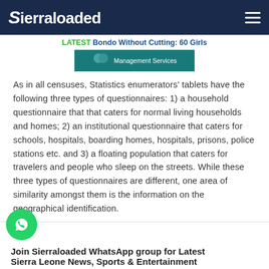Sierraloaded
LATEST Bondo Without Cutting: 60 Girls
[Figure (other): Advertisement banner showing Management Services with decorative elements]
As in all censuses, Statistics enumerators' tablets have the following three types of questionnaires: 1) a household questionnaire that that caters for normal living households and homes; 2) an institutional questionnaire that caters for schools, hospitals, boarding homes, hospitals, prisons, police stations etc. and 3) a floating population that caters for travelers and people who sleep on the streets. While these three types of questionnaires are different, one area of similarity amongst them is the information on the geographical identification.
Join Sierraloaded WhatsApp group for Latest Sierra Leone News, Sports & Entertainment